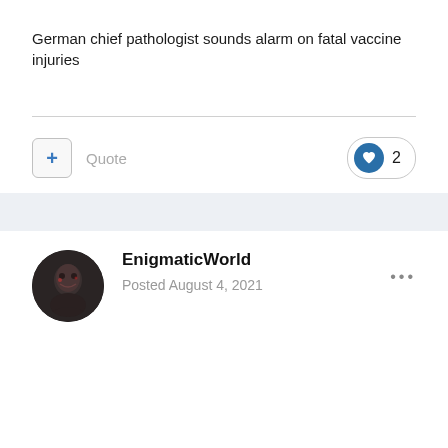German chief pathologist sounds alarm on fatal vaccine injuries
Quote
2
EnigmaticWorld
Posted August 4, 2021